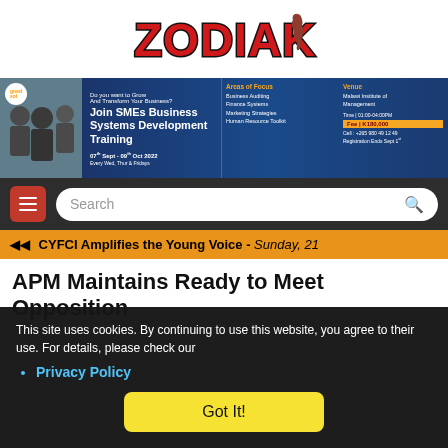[Figure (logo): ZODIAK logo in red bold stylized letters with a colorful Malawi map silhouette on the right side]
[Figure (infographic): SMEs Business Systems Development Training advertisement banner. Blue background with photo of students on the left. Text: Do you want to Grow And Transform Your Business? Join SMEs Business Systems Development Training. Areas of Focus: Business Auditing, Finance Systems, Marketing Strategies, Human Resource Toolkit. 07th Sept - 09th Oct 2022, Every Wed, Thur & Fridays. Venue: Malawi Institute of Management. Time: 01:00-04:00PM. Fee: K180,000. Cell: +265 980 49 12 49. Registration Ends Sept 1st.]
[Figure (screenshot): Navigation bar with red hamburger menu button on left and search box on right]
◄◄ CYFCI Amplifies the Young Voice - Sunday, 21
APM Maintains Ready to Meet Opposition
This site uses cookies. By continuing to use this website, you agree to their use. For details, please check our
Privacy Policy
Got It!